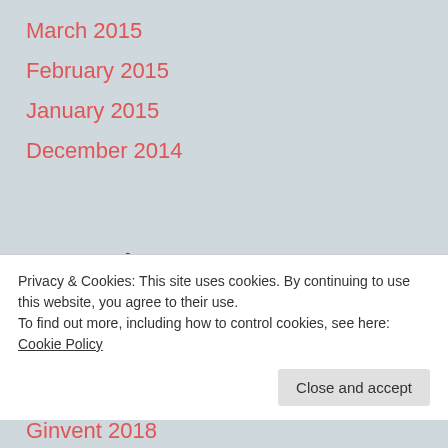March 2015
February 2015
January 2015
December 2014
Categories
#jennyruns
Privacy & Cookies: This site uses cookies. By continuing to use this website, you agree to their use.
To find out more, including how to control cookies, see here: Cookie Policy
Close and accept
Ginvent 2018